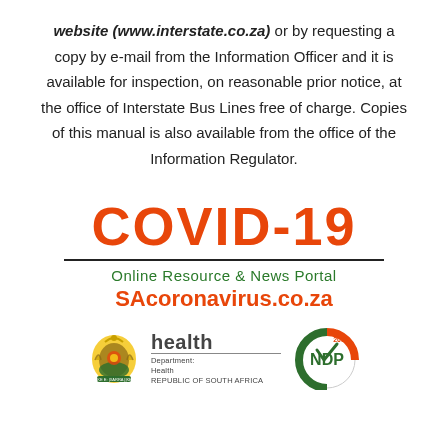website (www.interstate.co.za) or by requesting a copy by e-mail from the Information Officer and it is available for inspection, on reasonable prior notice, at the office of Interstate Bus Lines free of charge. Copies of this manual is also available from the office of the Information Regulator.
[Figure (infographic): COVID-19 Online Resource & News Portal banner with SAcoronavirus.co.za URL, Department of Health South Africa logo, and NDP 2030 logo]